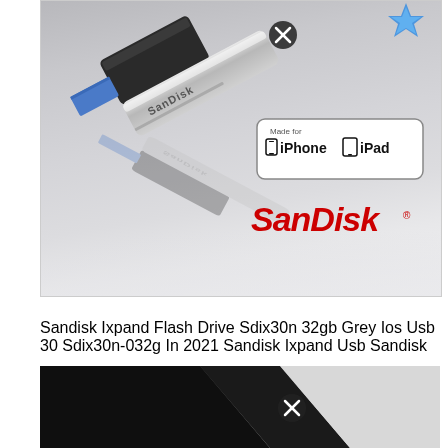[Figure (photo): Product photo of a SanDisk iXpand Flash Drive (grey/silver USB 3.0 drive) shown at an angle with reflection. Includes 'Made for iPhone iPad' badge in the top right and SanDisk red logo at bottom right. A circular close/X button overlay is visible near the top.]
Sandisk Ixpand Flash Drive Sdix30n 32gb Grey Ios Usb 30 Sdix30n-032g In 2021 Sandisk Ixpand Usb Sandisk
[Figure (photo): Partial product image at the bottom of the page, showing a dark/black object against a light background with a circular close/X button overlay.]